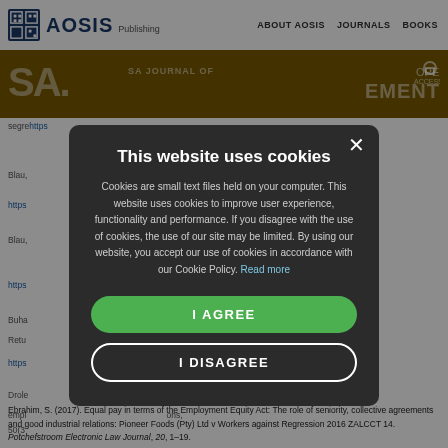AOSIS Publishing | ABOUT AOSIS | JOURNALS | BOOKS
[Figure (screenshot): AOSIS Publishing logo and navigation bar with gold banner showing SA.HRM | SA JOURNAL OF ... MANAGEMENT in background]
This website uses cookies
Cookies are small text files held on your computer. This website uses cookies to improve user experience, functionality and performance. If you disagree with the use of cookies, the use of our site may be limited. By using our website, you accept our use of cookies in accordance with our Cookie Policy. Read more
I AGREE
I DISAGREE
Ebrahim, S. (2017). Equal pay in terms of the Employment Equity Act: The role of seniority, collective agreements and good industrial relations: Pioneer Foods (Pty) Ltd v Workers against Regression 2016 ZALCCT 14. Potchefstroom Electronic Law Journal, 20, 1–19.